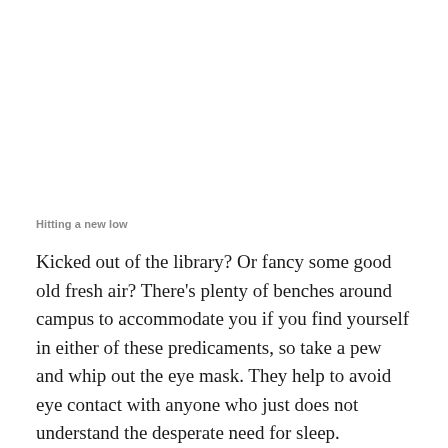Hitting a new low
Kicked out of the library? Or fancy some good old fresh air? There's plenty of benches around campus to accommodate you if you find yourself in either of these predicaments, so take a pew and whip out the eye mask. They help to avoid eye contact with anyone who just does not understand the desperate need for sleep.